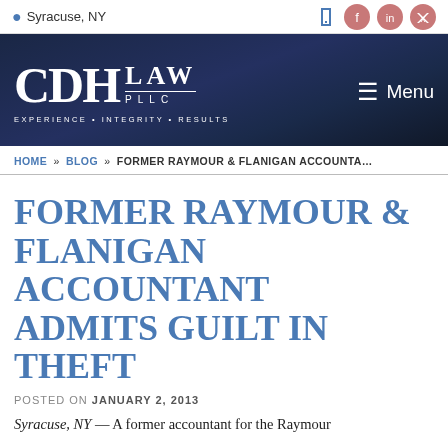Syracuse, NY
[Figure (logo): CDH LAW PLLC logo with tagline EXPERIENCE • INTEGRITY • RESULTS and Menu button]
HOME » BLOG » FORMER RAYMOUR & FLANIGAN ACCOUNTA…
FORMER RAYMOUR & FLANIGAN ACCOUNTANT ADMITS GUILT IN THEFT
POSTED ON JANUARY 2, 2013
Syracuse, NY — A former accountant for the Raymour…